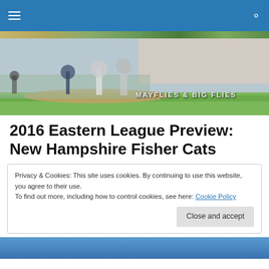Navigation header with hamburger menu and search icon
[Figure (photo): Baseball game action photo with players at home plate, crowd in background, with 'MAYFLIES & BIG FLIES' text overlay]
2016 Eastern League Preview: New Hampshire Fisher Cats
Privacy & Cookies: This site uses cookies. By continuing to use this website, you agree to their use.
To find out more, including how to control cookies, see here: Cookie Policy
Close and accept
[Figure (photo): Bottom portion of a baseball-related photo with blue jersey visible]